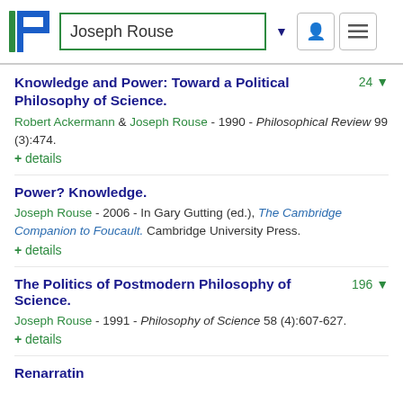Joseph Rouse
Knowledge and Power: Toward a Political Philosophy of Science.
Robert Ackermann & Joseph Rouse - 1990 - Philosophical Review 99 (3):474.
+ details
Power? Knowledge.
Joseph Rouse - 2006 - In Gary Gutting (ed.), The Cambridge Companion to Foucault. Cambridge University Press.
+ details
The Politics of Postmodern Philosophy of Science.
Joseph Rouse - 1991 - Philosophy of Science 58 (4):607-627.
+ details